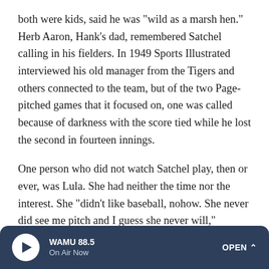both were kids, said he was "wild as a marsh hen." Herb Aaron, Hank's dad, remembered Satchel calling in his fielders. In 1949 Sports Illustrated interviewed his old manager from the Tigers and others connected to the team, but of the two Page-pitched games that it focused on, one was called because of darkness with the score tied while he lost the second in fourteen innings.
One person who did not watch Satchel play, then or ever, was Lula. She had neither the time nor the interest. She "didn't like baseball, nohow. She never did see me pitch and I guess she never will," Satchel wrote in 1948. "She thought baseball was sinnin', always playin' and never workin'." Did that bother him? Absolutely, he maintained. "It's a terrible
WAMU 88.5 On Air Now OPEN